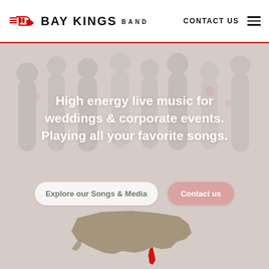BAY KINGS BAND | CONTACT US
High energy live music for weddings & corporate events. Playing all your favorite songs.
Explore our Songs & Media
Contact us
[Figure (map): Silhouette map of the United States shown at the bottom of the hero section]